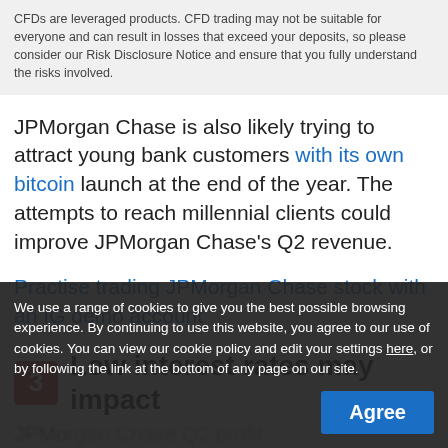CFDs are leveraged products. CFD trading may not be suitable for everyone and can result in losses that exceed your deposits, so please consider our Risk Disclosure Notice and ensure that you fully understand the risks involved.
JPMorgan Chase is also likely trying to attract young bank customers with its own bitcoin launch at the end of the year. The attempts to reach millennial clients could improve JPMorgan Chase's Q2 revenue.
Practise trading JPMorgan Chase stock with an IG demo account
3 Low interest rates may impact
We use a range of cookies to give you the best possible browsing experience. By continuing to use this website, you agree to our use of cookies. You can view our cookie policy and edit your settings here, or by following the link at the bottom of any page on our site.
Agree